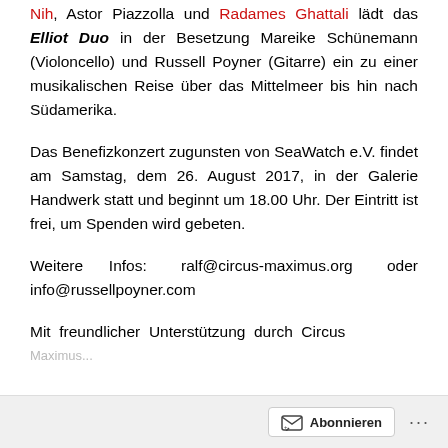Nih, Astor Piazzolla und Radames Ghattali lädt das Elliot Duo in der Besetzung Mareike Schünemann (Violoncello) und Russell Poyner (Gitarre) ein zu einer musikalischen Reise über das Mittelmeer bis hin nach Südamerika.
Das Benefizkonzert zugunsten von SeaWatch e.V. findet am Samstag, dem 26. August 2017, in der Galerie Handwerk statt und beginnt um 18.00 Uhr. Der Eintritt ist frei, um Spenden wird gebeten.
Weitere Infos: ralf@circus-maximus.org oder info@russellpoyner.com
Mit freundlicher Unterstützung durch Circus Maximus...
Abonnieren ...